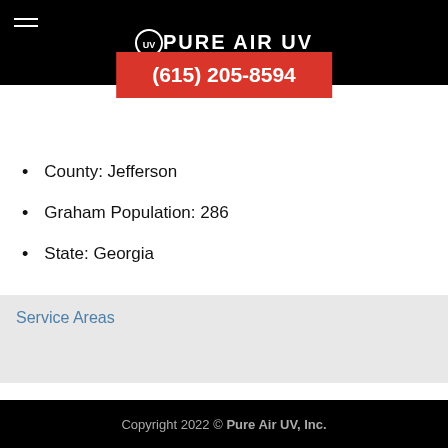PURE AIR UV
(615) 205-8594
County: Jefferson
Graham Population: 286
State: Georgia
Service Areas
Copyright 2022 © Pure Air UV, Inc.